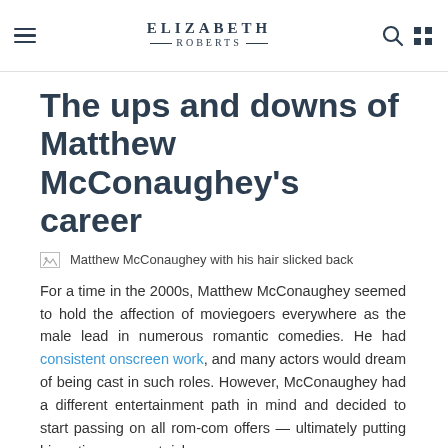ELIZABETH ROBERTS
The ups and downs of Matthew McConaughey's career
[Figure (photo): Broken image placeholder with alt text: Matthew McConaughey with his hair slicked back]
For a time in the 2000s, Matthew McConaughey seemed to hold the affection of moviegoers everywhere as the male lead in numerous romantic comedies. He had consistent onscreen work, and many actors would dream of being cast in such roles. However, McConaughey had a different entertainment path in mind and decided to start passing on all rom-com offers — ultimately putting his acting career at risk.